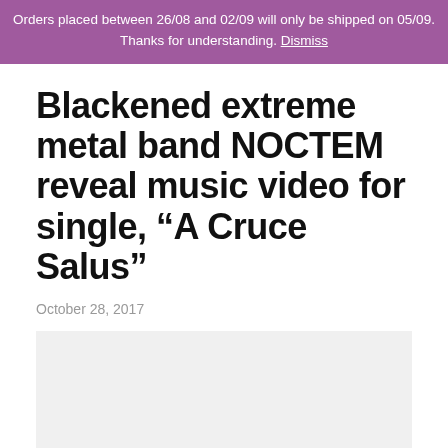Orders placed between 26/08 and 02/09 will only be shipped on 05/09. Thanks for understanding. Dismiss
Blackened extreme metal band NOCTEM reveal music video for single, “A Cruce Salus”
October 28, 2017
[Figure (other): Embedded video placeholder (light gray rectangle)]